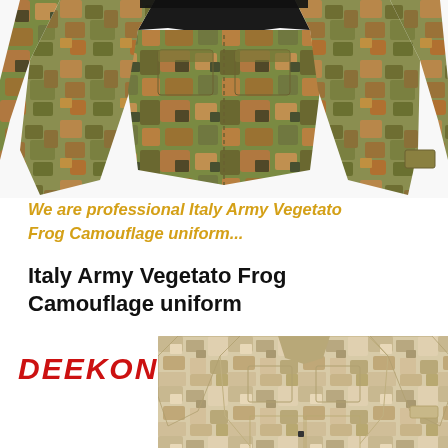[Figure (photo): Italy Army Vegetato Frog Camouflage uniform jacket displayed from above, showing green-brown digital camouflage pattern with multiple pockets and dark collar]
We are professional Italy Army Vegetato Frog Camouflage uniform...
Italy Army Vegetato Frog Camouflage uniform
[Figure (logo): DEEKON brand logo in bold red italic text]
[Figure (photo): Desert camouflage military uniform set (jacket and pants) displayed flat, showing light tan/beige digital camouflage pattern]